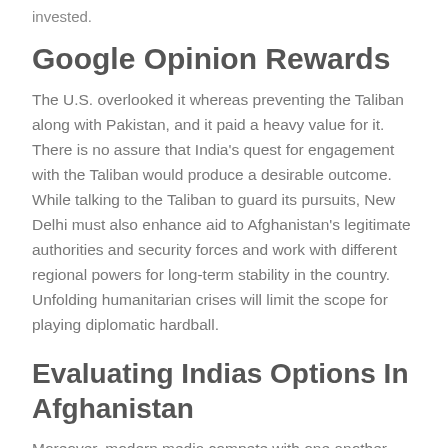invested.
Google Opinion Rewards
The U.S. overlooked it whereas preventing the Taliban along with Pakistan, and it paid a heavy value for it. There is no assure that India's quest for engagement with the Taliban would produce a desirable outcome. While talking to the Taliban to guard its pursuits, New Delhi must also enhance aid to Afghanistan's legitimate authorities and security forces and work with different regional powers for long-term stability in the country. Unfolding humanitarian crises will limit the scope for playing diplomatic hardball.
Evaluating Indias Options In Afghanistan
Moreover, modern media compete with one another and adjust their opinions to attract audiences, and this may even convey significant modifications to the model. Nevertheless,